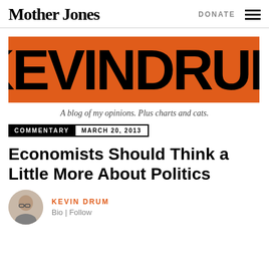Mother Jones | DONATE
[Figure (logo): Kevin Drum blog banner in orange with large black stylized text 'KEVINDRUM']
A blog of my opinions. Plus charts and cats.
COMMENTARY | MARCH 20, 2013
Economists Should Think a Little More About Politics
KEVIN DRUM
Bio | Follow